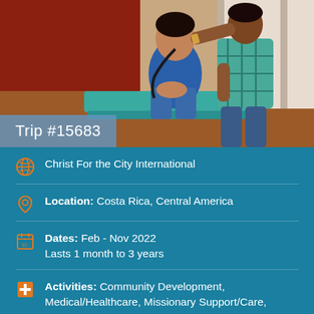[Figure (photo): Medical professional examining a patient; patient is seated on a table, clinician in plaid shirt uses stethoscope or examination tool; warm indoor setting with teal-colored seating]
Trip #15683
Christ For the City International
Location: Costa Rica, Central America
Dates: Feb - Nov 2022
Lasts 1 month to 3 years
Activities: Community Development, Medical/Healthcare, Missionary Support/Care, Technical/Professional Skills,